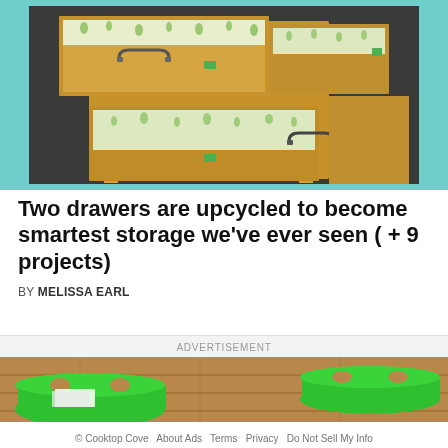[Figure (photo): Wooden chest of drawers with two open drawers pulled out, lined with green floral paper, showing vintage metal drawer pulls, set against a teal/mint background]
Two drawers are upcycled to become smartest storage we've ever seen ( + 9 projects)
BY MELISSA EARL
ADVERTISEMENT
[Figure (photo): Green plastic laundry/storage baskets on a wooden floor with some papers inside]
© Cooktop Cove   About Ads   Terms   Privacy   Do Not Sell My Info